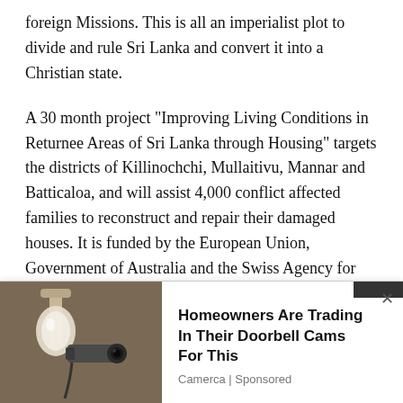foreign Missions. This is all an imperialist plot to divide and rule Sri Lanka and convert it into a Christian state.
A 30 month project “Improving Living Conditions in Returnee Areas of Sri Lanka through Housing” targets the districts of Killinochchi, Mullaitivu, Mannar and Batticaloa, and will assist 4,000 conflict affected families to reconstruct and repair their damaged houses. It is funded by the European Union, Government of Australia and the Swiss Agency for Development and Cooperation (SDC) and implemented by UN-Habitat and SDC. Housing construction will be started...
[Figure (photo): Advertisement banner showing an outdoor security camera or doorbell camera mounted on a wall, with text 'Homeowners Are Trading In Their Doorbell Cams For This' from Camerca (Sponsored)]